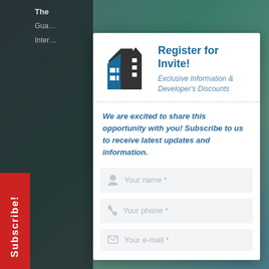[Figure (screenshot): Website screenshot with a modal popup dialog for subscribing/registering for an invite. Background shows a dark overlay on a teal/green blurred website. A red vertical 'Subscribe!' button appears on the left side. A blue 'X' close button is below it. The white modal contains a building/real estate logo, 'Register for Invite!' heading, italic subtitle 'Exclusive Information & Developer's Discounts', a dashed divider, italic body text, and three form input fields for name, phone, and email.]
Register for Invite!
Exclusive Information & Developer's Discounts
We are excited to share this opportunity with you! Subscribe to us to receive latest updates and information.
Your name *
Your phone *
Your e-mail *